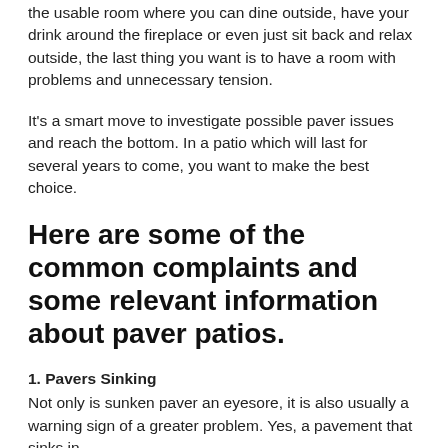the usable room where you can dine outside, have your drink around the fireplace or even just sit back and relax outside, the last thing you want is to have a room with problems and unnecessary tension.
It's a smart move to investigate possible paver issues and reach the bottom. In a patio which will last for several years to come, you want to make the best choice.
Here are some of the common complaints and some relevant information about paver patios.
1. Pavers Sinking
Not only is sunken paver an eyesore, it is also usually a warning sign of a greater problem. Yes, a pavement that sinks in